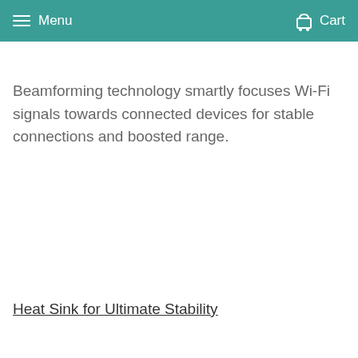Menu  Cart
Beamforming technology smartly focuses Wi-Fi signals towards connected devices for stable connections and boosted range.
Heat Sink for Ultimate Stability